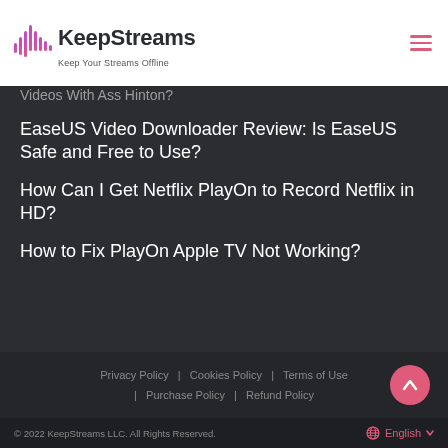KeepStreams — Keep Your Streams Offline
Videos With Ass Hinton?
EaseUS Video Downloader Review: Is EaseUS Safe and Free to Use?
How Can I Get Netflix PlayOn to Record Netflix in HD?
How to Fix PlayOn Apple TV Not Working?
Privacy Policy | Cookies Policy | Terms of Use | Purchase Policy | Refund Policy
© 2022 KeepStreams LLC. All Rights Reserved.  English